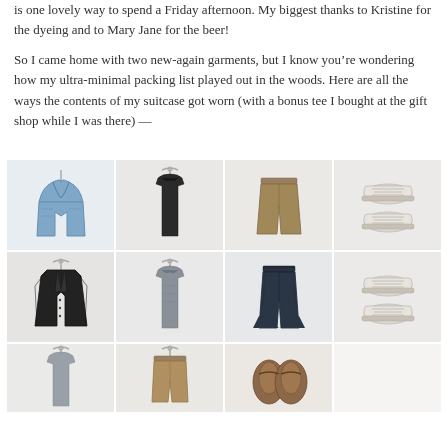is one lovely way to spend a Friday afternoon. My biggest thanks to Kristine for the dyeing and to Mary Jane for the beer!
So I came home with two new-again garments, but I know you’re wondering how my ultra-minimal packing list played out in the woods. Here are all the ways the contents of my suitcase got worn (with a bonus tee I bought at the gift shop while I was there) —
[Figure (photo): A 4-column grid of clothing and shoe photos on white backgrounds. Row 1: denim vest, black sleeveless tank top, tan/khaki wide-leg pants, white canvas sneakers. Row 2: black cardigan, grey linen sleeveless top, dark denim flare jeans, white canvas sneakers. Row 3 (partial): grey sleeveless shirt, tan shorts, brown sandals/shoes.]